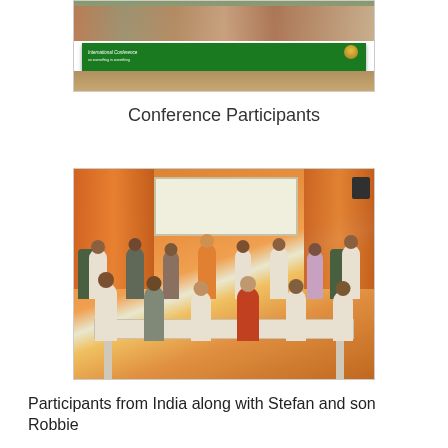[Figure (photo): Group photo of conference participants outdoors holding a green banner reading 'International Conference']
Conference Participants
[Figure (photo): Indoor group photo of participants from India along with Stefan and son Robbie, seated and standing around a table in a conference room with orange curtains and a projection screen]
Participants from India along with Stefan and son Robbie